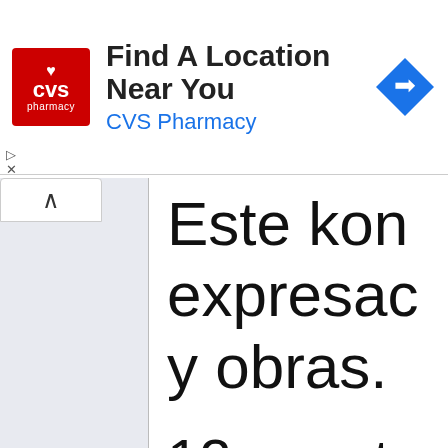[Figure (screenshot): CVS Pharmacy advertisement banner with red logo, text 'Find A Location Near You', 'CVS Pharmacy' in blue, and a blue navigation arrow icon on the right]
Este konc expresad y obras.
12 aposte
12 hijos d
12 herma